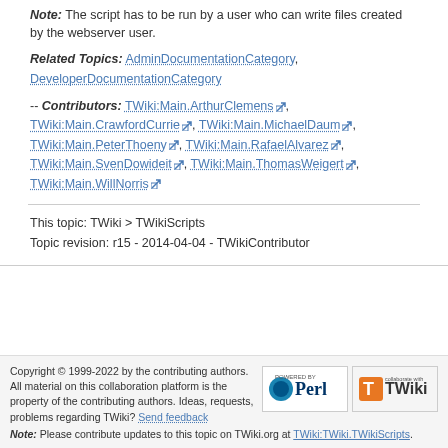Note: The script has to be run by a user who can write files created by the webserver user.
Related Topics: AdminDocumentationCategory, DeveloperDocumentationCategory
-- Contributors: TWiki:Main.ArthurClemens, TWiki:Main.CrawfordCurrie, TWiki:Main.MichaelDaum, TWiki:Main.PeterThoeny, TWiki:Main.RafaelAlvarez, TWiki:Main.SvenDowideit, TWiki:Main.ThomasWeigert, TWiki:Main.WillNorris
This topic: TWiki > TWikiScripts
Topic revision: r15 - 2014-04-04 - TWikiContributor
Copyright © 1999-2022 by the contributing authors. All material on this collaboration platform is the property of the contributing authors. Ideas, requests, problems regarding TWiki? Send feedback Note: Please contribute updates to this topic on TWiki.org at TWiki:TWiki.TWikiScripts.